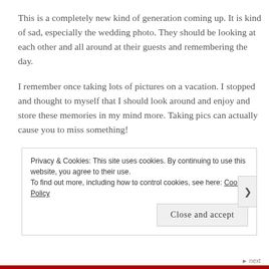This is a completely new kind of generation coming up. It is kind of sad, especially the wedding photo. They should be looking at each other and all around at their guests and remembering the day.
I remember once taking lots of pictures on a vacation. I stopped and thought to myself that I should look around and enjoy and store these memories in my mind more. Taking pics can actually cause you to miss something!
Privacy & Cookies: This site uses cookies. By continuing to use this website, you agree to their use. To find out more, including how to control cookies, see here: Cookie Policy Close and accept